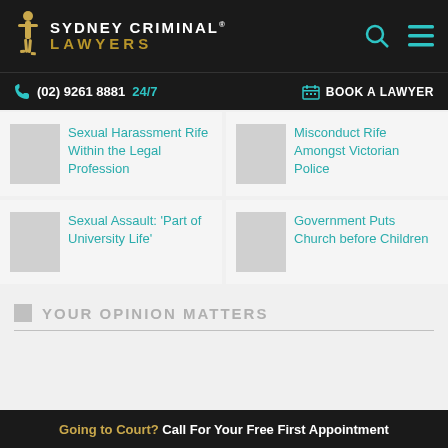[Figure (logo): Sydney Criminal Lawyers logo with golden figure and text]
(02) 9261 8881 24/7  BOOK A LAWYER
Sexual Harassment Rife Within the Legal Profession
Misconduct Rife Amongst Victorian Police
Sexual Assault: ‘Part of University Life’
Government Puts Church before Children
YOUR OPINION MATTERS
Going to Court? Call For Your Free First Appointment